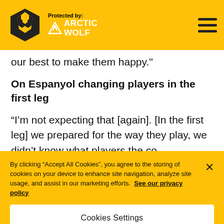Protected by: ARCTIC WOLF
our best to make them happy."
On Espanyol changing players in the first leg
“I’m not expecting that [again]. [In the first leg] we prepared for the way they play, we didn’t know what players the co
By clicking “Accept All Cookies”, you agree to the storing of cookies on your device to enhance site navigation, analyze site usage, and assist in our marketing efforts. See our privacy policy
Cookies Settings
Reject All
Accept All Cookies